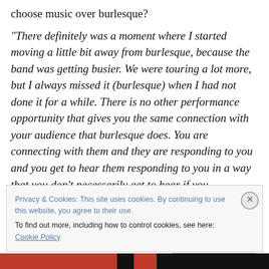choose music over burlesque?
“There definitely was a moment where I started moving a little bit away from burlesque, because the band was getting busier. We were touring a lot more, but I always missed it (burlesque) when I had not done it for a while. There is no other performance opportunity that gives you the same connection with your audience that burlesque does. You are connecting with them and they are responding to you and you get to hear them responding to you in a way that you don’t necessarily get to hear if you
Privacy & Cookies: This site uses cookies. By continuing to use this website, you agree to their use.
To find out more, including how to control cookies, see here: Cookie Policy
Close and accept